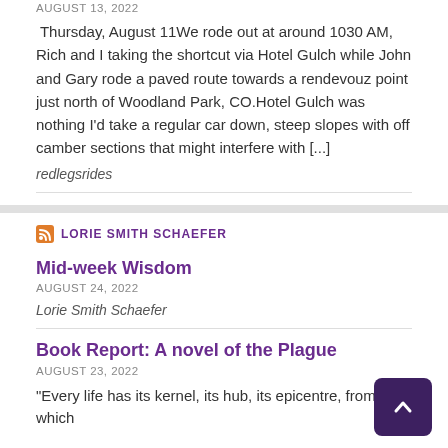AUGUST 13, 2022
Thursday, August 11We rode out at around 1030 AM, Rich and I taking the shortcut via Hotel Gulch while John and Gary rode a paved route towards a rendevouz point just north of Woodland Park, CO.Hotel Gulch was nothing I'd take a regular car down, steep slopes with off camber sections that might interfere with [...]
redlegsrides
LORIE SMITH SCHAEFER
Mid-week Wisdom
AUGUST 24, 2022
Lorie Smith Schaefer
Book Report: A novel of the Plague
AUGUST 23, 2022
“Every life has its kernel, its hub, its epicentre, from which